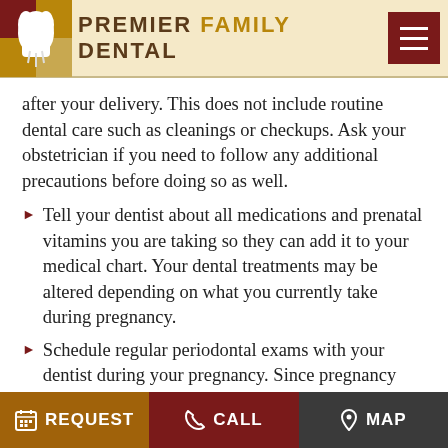PREMIER FAMILY DENTAL
after your delivery. This does not include routine dental care such as cleanings or checkups. Ask your obstetrician if you need to follow any additional precautions before doing so as well.
Tell your dentist about all medications and prenatal vitamins you are taking so they can add it to your medical chart. Your dental treatments may be altered depending on what you currently take during pregnancy.
Schedule regular periodontal exams with your dentist during your pregnancy. Since pregnancy causes hormonal changes that can put you at higher risk for a condition called pregnancy
REQUEST   CALL   MAP